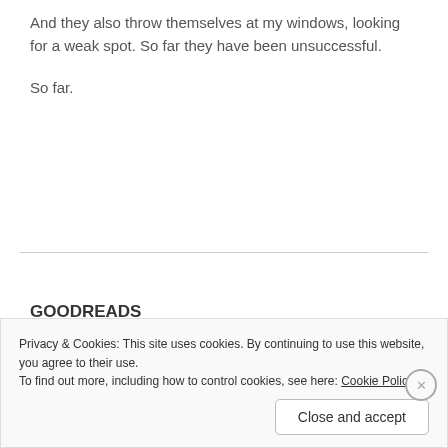And they also throw themselves at my windows, looking for a weak spot. So far they have been unsuccessful.
So far.
GOODREADS
Privacy & Cookies: This site uses cookies. By continuing to use this website, you agree to their use.
To find out more, including how to control cookies, see here: Cookie Policy
Close and accept